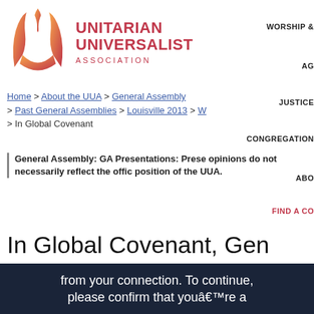[Figure (logo): Unitarian Universalist Association logo with flame symbol and text]
WORSHIP &
AG
JUSTICE
CONGREGATION
ABO
FIND A CO
Home > About the UUA > General Assembly > Past General Assemblies > Louisville 2013 > W > In Global Covenant
General Assembly: GA Presentations: Prese opinions do not necessarily reflect the offic position of the UUA.
In Global Covenant, Gen Assembly 2013 Worship
from your connection. To continue, please confirm that youâ€™re a